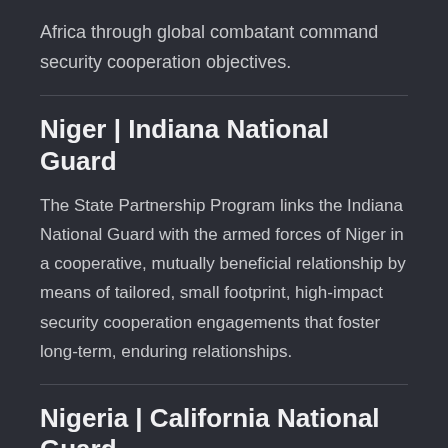Africa through global combatant command security cooperation objectives.
Niger | Indiana National Guard
The State Partnership Program links the Indiana National Guard with the armed forces of Niger in a cooperative, mutually beneficial relationship by means of tailored, small footprint, high-impact security cooperation engagements that foster long-term, enduring relationships.
Nigeria | California National Guard
The California National Guard was awarded the